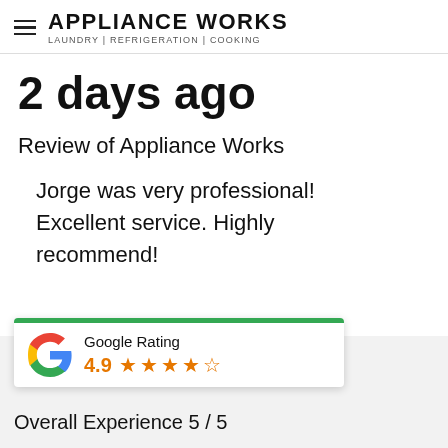APPLIANCE WORKS LAUNDRY | REFRIGERATION | COOKING
2 days ago
Review of Appliance Works
Jorge was very professional! Excellent service. Highly recommend!
[Figure (logo): Google Rating widget with Google G logo, 4.9 star rating (4 filled stars and 1 half star), green bar at top]
Overall Experience 5 / 5